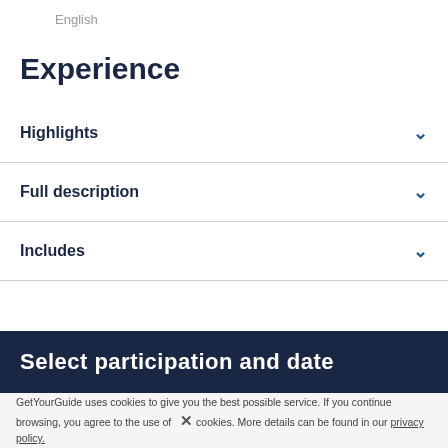English
Experience
Highlights
Full description
Includes
Select participation and date
GetYourGuide uses cookies to give you the best possible service. If you continue browsing, you agree to the use of cookies. More details can be found in our privacy policy.